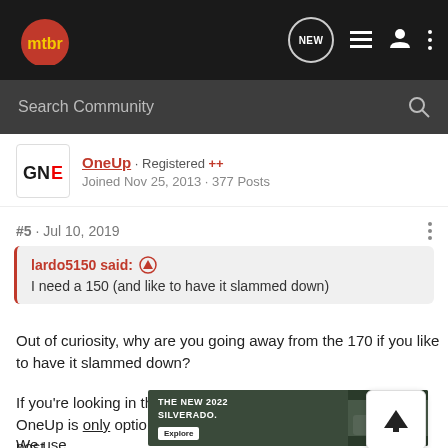mtbr navigation bar with logo, NEW chat icon, list icon, user icon, menu icon
Search Community
OneUp · Registered ++ 
Joined Nov 25, 2013 · 377 Posts
#5 · Jul 10, 2019
lardo5150 said: ↑
I need a 150 (and like to have it slammed down)
Out of curiosity, why are you going away from the 170 if you like to have it slammed down?
If you're looking in the $200 range I'm confident OneUp is the only option that isn't a rebranded catalog post.
We use
[Figure (screenshot): Chevrolet Silverado 2022 advertisement banner with text 'THE NEW 2022 SILVERADO.' and an Explore button, showing a truck in a forested setting with Chevrolet logo]